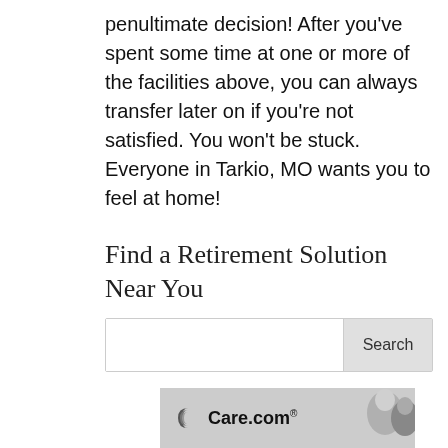penultimate decision! After you've spent some time at one or more of the facilities above, you can always transfer later on if you're not satisfied. You won't be stuck. Everyone in Tarkio, MO wants you to feel at home!
Find a Retirement Solution Near You
[Figure (screenshot): Search bar with white input field and gray Search button]
[Figure (photo): Care.com advertisement banner showing logo and elderly person with caregiver]